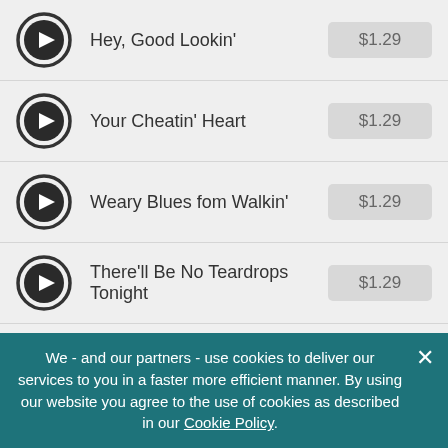Hey, Good Lookin' $1.29
Your Cheatin' Heart $1.29
Weary Blues fom Walkin' $1.29
There'll Be No Teardrops Tonight $1.29
Nobody's Lonesome for Me $1.29
Ramblin' Man $1.29
I'm So Lonesome I Could Cry
We - and our partners - use cookies to deliver our services to you in a faster more efficient manner. By using our website you agree to the use of cookies as described in our Cookie Policy.